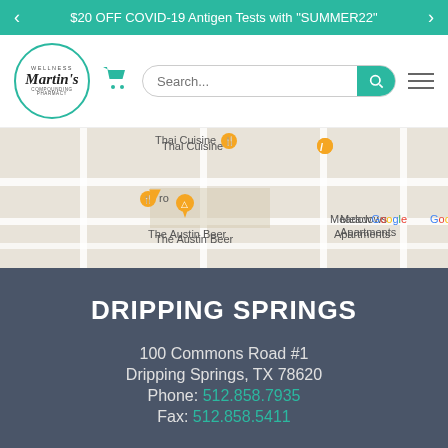$20 OFF COVID-19 Antigen Tests with 'SUMMER22'
[Figure (screenshot): Martin's Wellness pharmacy navigation bar with logo, cart icon, search bar, and hamburger menu]
[Figure (map): Google Maps screenshot showing area with Thai Cuisine, The Austin Beer, Meadows Apartments, Fresa's South First markers]
DRIPPING SPRINGS
100 Commons Road #1
Dripping Springs, TX 78620
Phone: 512.858.7935
Fax: 512.858.5411